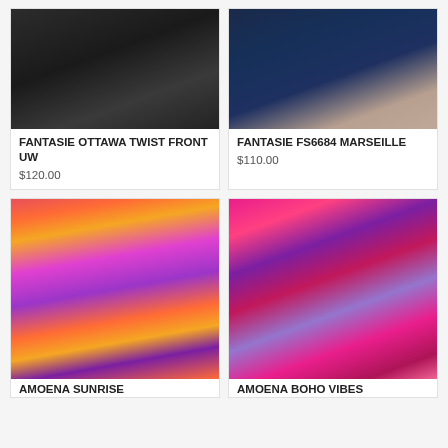[Figure (photo): Model wearing black twist-front one-piece swimsuit, cropped at torso]
[Figure (photo): Model wearing navy blue high-waist bikini bottom with textured fabric, cropped at torso]
FANTASIE OTTAWA TWIST FRONT UW
$120.00
FANTASIE FS6684 MARSEILLE
$110.00
[Figure (photo): Model wearing colorful striped bandeau-style one-piece swimsuit with halter straps in purple, orange, pink]
[Figure (photo): Model wearing pink and blue boho-patterned high-neck halter one-piece swimsuit with ruffle detail]
AMOENA Sunrise
AMOENA Boho Vibes